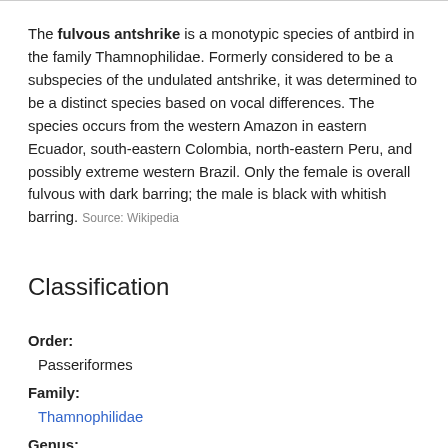The fulvous antshrike is a monotypic species of antbird in the family Thamnophilidae. Formerly considered to be a subspecies of the undulated antshrike, it was determined to be a distinct species based on vocal differences. The species occurs from the western Amazon in eastern Ecuador, south-eastern Colombia, north-eastern Peru, and possibly extreme western Brazil. Only the female is overall fulvous with dark barring; the male is black with whitish barring. Source: Wikipedia
Classification
Order:
Passeriformes
Family:
Thamnophilidae
Genus:
Frederickena